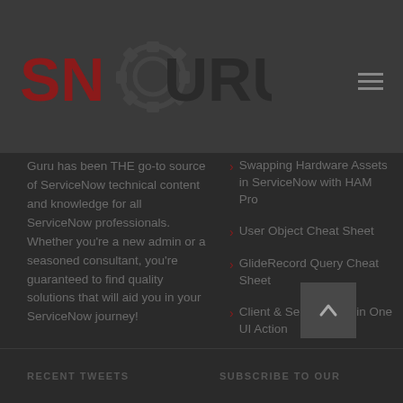SNGURU
Guru has been THE go-to source of ServiceNow technical content and knowledge for all ServiceNow professionals. Whether you're a new admin or a seasoned consultant, you're guaranteed to find quality solutions that will aid you in your ServiceNow journey!
Swapping Hardware Assets in ServiceNow with HAM Pro
User Object Cheat Sheet
GlideRecord Query Cheat Sheet
Client & Server Code in One UI Action
RECENT TWEETS   SUBSCRIBE TO OUR